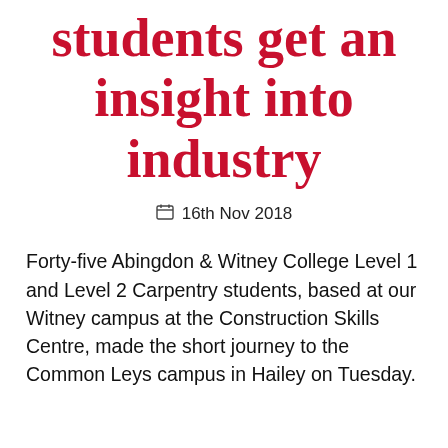students get an insight into industry
16th Nov 2018
Forty-five Abingdon & Witney College Level 1 and Level 2 Carpentry students, based at our Witney campus at the Construction Skills Centre, made the short journey to the Common Leys campus in Hailey on Tuesday.